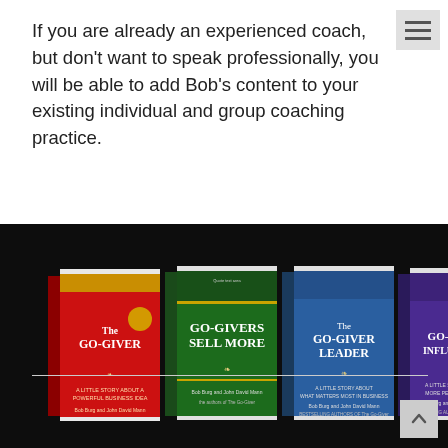If you are already an experienced coach, but don't want to speak professionally, you will be able to add Bob's content to your existing individual and group coaching practice.
[Figure (photo): Four books displayed side by side on a black background: 'The Go-Giver' (red cover), 'Go-Givers Sell More' (green cover), 'The Go-Giver Leader' (blue cover), and 'The Go-Giver Influencer' (purple cover). All books are by Bob Burg and John David Mann.]